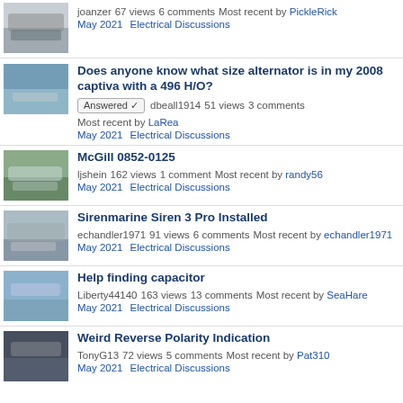joanzer  67 views  6 comments  Most recent by PickleRick
May 2021  Electrical Discussions
Does anyone know what size alternator is in my 2008 captiva with a 496 H/O?
Answered ✓  dbeall1914  51 views  3 comments  Most recent by LaRea
May 2021  Electrical Discussions
McGill 0852-0125
ljshein  162 views  1 comment  Most recent by randy56
May 2021  Electrical Discussions
Sirenmarine Siren 3 Pro Installed
echandler1971  91 views  6 comments  Most recent by echandler1971
May 2021  Electrical Discussions
Help finding capacitor
Liberty44140  163 views  13 comments  Most recent by SeaHare
May 2021  Electrical Discussions
Weird Reverse Polarity Indication
TonyG13  72 views  5 comments  Most recent by Pat310
May 2021  Electrical Discussions